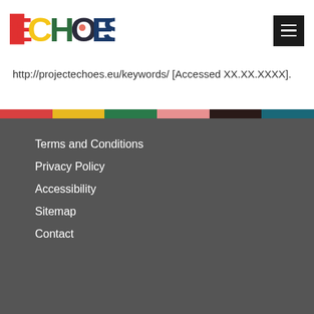[Figure (logo): ECHOES project logo with colorful letters]
http://projectechoes.eu/keywords/ [Accessed XX.XX.XXXX].
Terms and Conditions
Privacy Policy
Accessibility
Sitemap
Contact